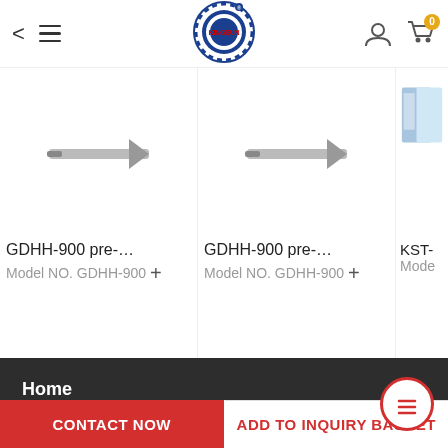Kingsun app header with back arrow, hamburger menu, Kingsun logo, user icon, cart icon (0)
[Figure (screenshot): Product card 1: GDHH-900 pre-... thumbnail image of a product, Model NO. GDHH-900]
[Figure (screenshot): Product card 2: GDHH-900 pre-... thumbnail image of a product, Model NO. GDHH-900]
[Figure (screenshot): Product card 3: KST-... partial thumbnail of a product, Model (partially visible)]
Home >
Products
Studio >
CONTACT NOW
ADD TO INQUIRY BASKET